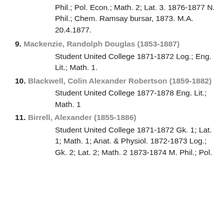Phil.; Pol. Econ.; Math. 2; Lat. 3. 1876-1877 N. Phil.; Chem. Ramsay bursar, 1873. M.A. 20.4.1877.
9. Mackenzie, Randolph Douglas (1853-1887) Student United College 1871-1872 Log.; Eng. Lit.; Math. 1.
10. Blackwell, Colin Alexander Robertson (1859-1882) Student United College 1877-1878 Eng. Lit.; Math. 1
11. Birrell, Alexander (1855-1886) Student United College 1871-1872 Gk. 1; Lat. 1; Math. 1; Anat. & Physiol. 1872-1873 Log.; Gk. 2; Lat. 2; Math. 2 1873-1874 M. Phil.; Pol.